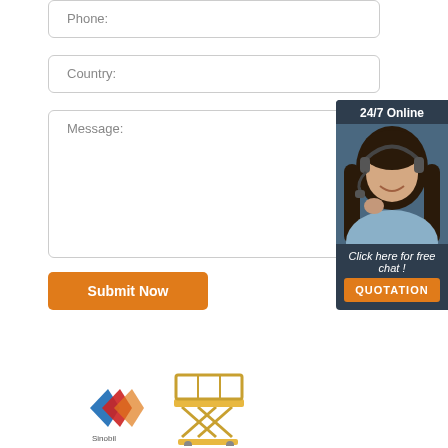Phone:
Country:
Message:
Submit Now
[Figure (infographic): Customer service chat widget showing '24/7 Online' header, photo of smiling woman with headset, 'Click here for free chat!' text, and orange QUOTATION button]
[Figure (logo): Company logo with red/blue diamond chevron shapes and a scissor lift illustration at the bottom]